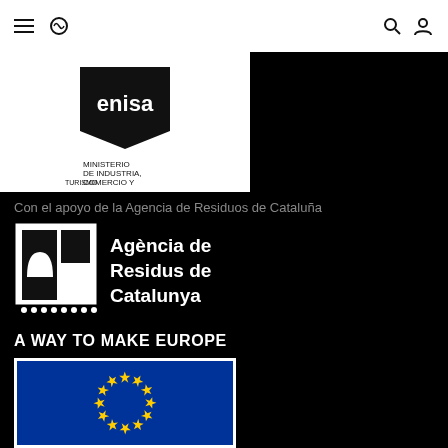Navigation bar with hamburger menu, circle icon, search and user icons
[Figure (logo): ENISA logo with text 'MINISTERIO DE INDUSTRIA, COMERCIO Y TURISMO' below, white background]
Con el apoyo de la Agencia de Residuos de Cataluña
[Figure (logo): Agència de Residus de Catalunya logo with black and white square icon and bold text on black background]
A WAY TO MAKE EUROPE
[Figure (illustration): European Union flag — blue background with circle of 12 yellow stars, partial view]